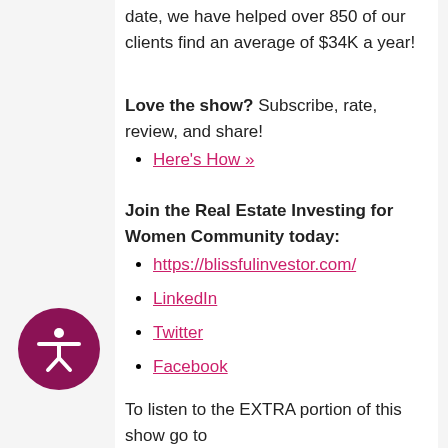date, we have helped over 850 of our clients find an average of $34K a year!
Love the show? Subscribe, rate, review, and share!
Here's How »
Join the Real Estate Investing for Women Community today:
https://blissfulinvestor.com/
LinkedIn
Twitter
Facebook
To listen to the EXTRA portion of this show go to RealEstateInvestingForWomenExtra.com